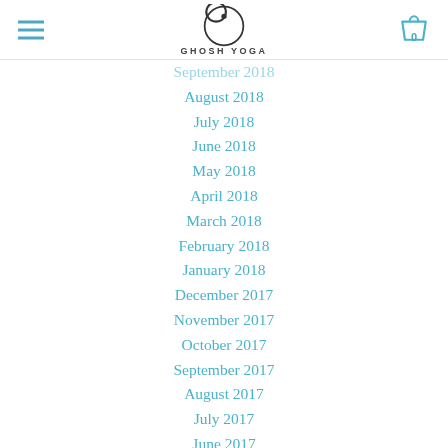Ghosh Yoga
September 2018
August 2018
July 2018
June 2018
May 2018
April 2018
March 2018
February 2018
January 2018
December 2017
November 2017
October 2017
September 2017
August 2017
July 2017
June 2017
May 2017
April 2017
March 2017